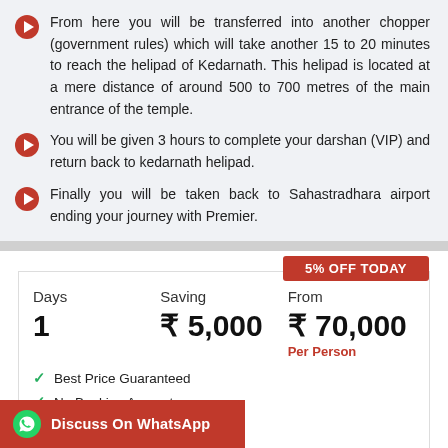From here you will be transferred into another chopper (government rules) which will take another 15 to 20 minutes to reach the helipad of Kedarnath. This helipad is located at a mere distance of around 500 to 700 metres of the main entrance of the temple.
You will be given 3 hours to complete your darshan (VIP) and return back to kedarnath helipad.
Finally you will be taken back to Sahastradhara airport ending your journey with Premier.
5% OFF TODAY
| Days | Saving | From |
| --- | --- | --- |
| 1 | ₹ 5,000 | ₹ 70,000 Per Person |
Best Price Guaranteed
No Booking Amount
No Hidden Charges
Discuss On WhatsApp